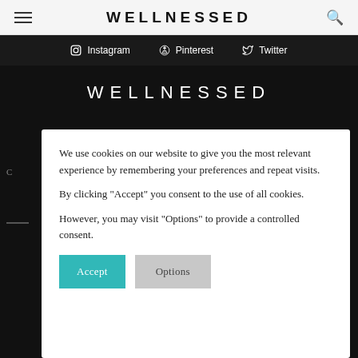WELLNESSED
Instagram  Pinterest  Twitter
WELLNESSED
We use cookies on our website to give you the most relevant experience by remembering your preferences and repeat visits.

By clicking "Accept" you consent to the use of all cookies.

However, you may visit "Options" to provide a controlled consent.
Accept   Options